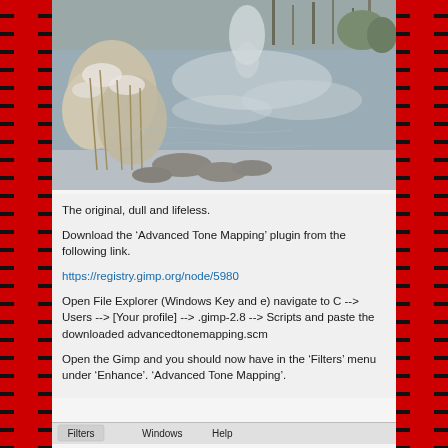[Figure (photo): Winter creek scene — icy water with snow-covered reeds and dry grasses in the foreground, bare trees and frozen waterway in the background. The original, dull and lifeless image.]
The original, dull and lifeless.
Download the ‘Advanced Tone Mapping’ plugin from the following link.
https://registry.gimp.org/node/5980
Open File Explorer (Windows Key and e) navigate to C --> Users --> [Your profile] --> .gimp-2.8 --> Scripts and paste the downloaded advancedtonemapping.scm
Open the Gimp and you should now have in the ‘Filters’ menu under ‘Enhance’. ‘Advanced Tone Mapping’.
[Figure (screenshot): Bottom bar showing GIMP menu bar with Filters | Windows | Help visible]